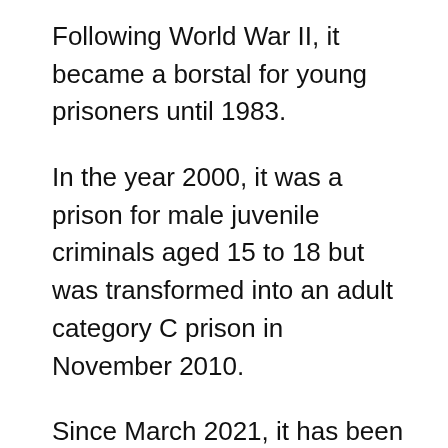Following World War II, it became a borstal for young prisoners until 1983.
In the year 2000, it was a prison for male juvenile criminals aged 15 to 18 but was transformed into an adult category C prison in November 2010.
Since March 2021, it has been a prison solely for foreign nationals and currently holds around 480 of them.
A 2017 inspection of HMP Huntercombe showed that at least 185 of the 197 men